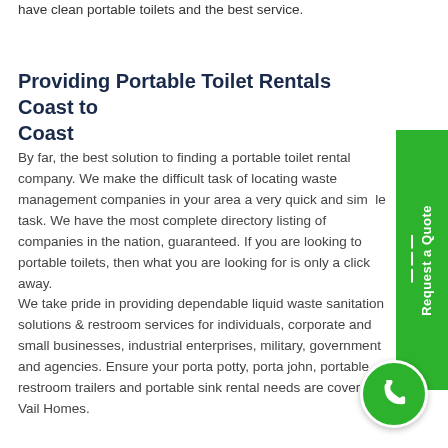have clean portable toilets and the best service.
Providing Portable Toilet Rentals Coast to Coast
By far, the best solution to finding a portable toilet rental company. We make the difficult task of locating waste management companies in your area a very quick and simple task. We have the most complete directory listing of companies in the nation, guaranteed. If you are looking to rent portable toilets, then what you are looking for is only a click away.
We take pride in providing dependable liquid waste sanitation solutions & restroom services for individuals, corporate and small businesses, industrial enterprises, military, government and agencies. Ensure your porta potty, porta john, portable restroom trailers and portable sink rental needs are covered in Vail Homes.